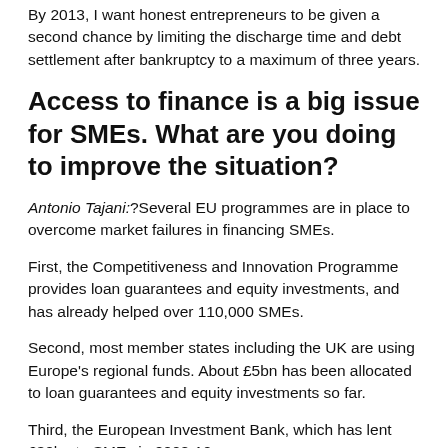By 2013, I want honest entrepreneurs to be given a second chance by limiting the discharge time and debt settlement after bankruptcy to a maximum of three years.
Access to finance is a big issue for SMEs. What are you doing to improve the situation?
Antonio Tajani:?Several EU programmes are in place to overcome market failures in financing SMEs.
First, the Competitiveness and Innovation Programme provides loan guarantees and equity investments, and has already helped over 110,000 SMEs.
Second, most member states including the UK are using Europe's regional funds. About £5bn has been allocated to loan guarantees and equity investments so far.
Third, the European Investment Bank, which has lent £30bn to SMEs in 2008-10.